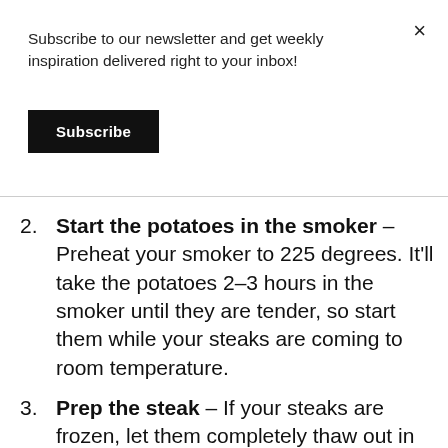Subscribe to our newsletter and get weekly inspiration delivered right to your inbox!
Subscribe
2. Start the potatoes in the smoker – Preheat your smoker to 225 degrees. It'll take the potatoes 2–3 hours in the smoker until they are tender, so start them while your steaks are coming to room temperature.
3. Prep the steak – If your steaks are frozen, let them completely thaw out in